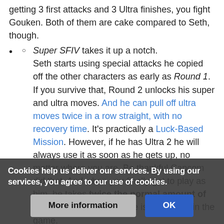getting 3 first attacks and 3 Ultra finishes, you fight Gouken. Both of them are cake compared to Seth, though.
Super SFIV takes it up a notch. Seth starts using special attacks he copied off the other characters as early as Round 1. If you survive that, Round 2 unlocks his super and ultra moves. And he can pull off ultra moves twice in a row straight, with no recovery time. It's practically a Luck-Based Mission. However, if he has Ultra 2 he will always use it as soon as he gets up, no matter where you are. Be thankful Capcom did that. And when you finally get to play as him, he takes twice the normal amount of damage! Yes, his defense is the lowest in the game.
Akuma after beating Seth, you fight Shin Akuma, who is Aku... purple gi, darker red hair, reddish skin, basically Akuma Shin...
Cookies help us deliver our services. By using our services, you agree to our use of cookies.